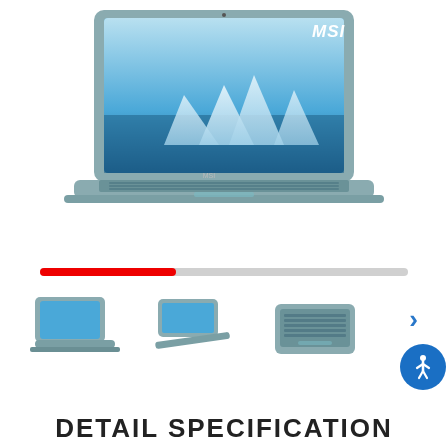[Figure (photo): MSI laptop computer open, front view, with blue icy mountain wallpaper on screen and MSI logo in top right of display, silver/teal chassis]
[Figure (photo): Horizontal progress/carousel indicator bar, red portion on left (~37%), gray portion on right]
[Figure (photo): Three thumbnail images of the MSI laptop from different angles (front, side, keyboard top) with a blue right-arrow navigation button]
DETAIL SPECIFICATION